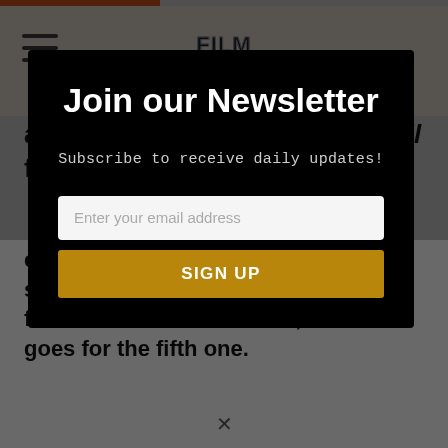Film Threat
and direct the first Resident Evil film.
Join our Newsletter
Subscribe to receive daily updates!
Enter your email address
SIGN UP
completely, I bought a ticket for the second one, and the third. I saw the fourth one in theaters and, the same goes for the fifth one.